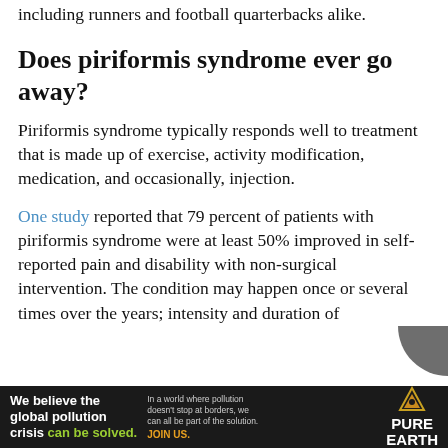including runners and football quarterbacks alike.
Does piriformis syndrome ever go away?
Piriformis syndrome typically responds well to treatment that is made up of exercise, activity modification, medication, and occasionally, injection.
One study reported that 79 percent of patients with piriformis syndrome were at least 50% improved in self-reported pain and disability with non-surgical intervention. The condition may happen once or several times over the years; intensity and duration of
[Figure (other): Advertisement banner for Pure Earth charity: dark background with text 'We believe the global pollution crisis can be solved.' and 'In a world where pollution doesn't stop at borders, we can all be part of the solution. JOIN US.' with Pure Earth logo (triangle/diamond shape in orange/gold).]